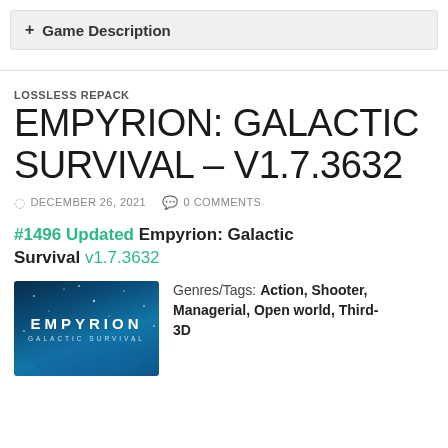+ Game Description
LOSSLESS REPACK
EMPYRION: GALACTIC SURVIVAL – V1.7.3632
DECEMBER 26, 2021   0 COMMENTS
#1496 Updated Empyrion: Galactic Survival v1.7.3632
[Figure (illustration): Empyrion: Galactic Survival game cover art showing blue space scene with EMPYRION title and GALACTIC SURVIVAL subtitle]
Genres/Tags: Action, Shooter, Managerial, Open world, Third-3D